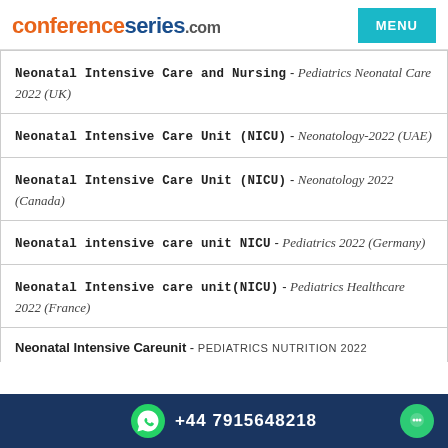conferenceseries.com | MENU
Neonatal Intensive Care and Nursing - Pediatrics Neonatal Care 2022 (UK)
Neonatal Intensive Care Unit (NICU) - Neonatology-2022 (UAE)
Neonatal Intensive Care Unit (NICU) - Neonatology 2022 (Canada)
Neonatal intensive care unit NICU - Pediatrics 2022 (Germany)
Neonatal Intensive care unit(NICU) - Pediatrics Healthcare 2022 (France)
Neonatal Intensive Careunit - PEDIATRICS NUTRITION 2022
+44 7915648218